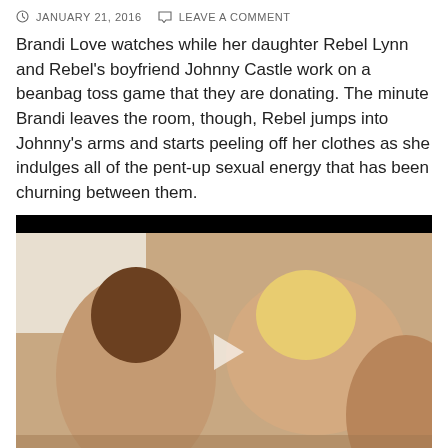JANUARY 21, 2016   LEAVE A COMMENT
Brandi Love watches while her daughter Rebel Lynn and Rebel’s boyfriend Johnny Castle work on a beanbag toss game that they are donating. The minute Brandi leaves the room, though, Rebel jumps into Johnny’s arms and starts peeling off her clothes as she indulges all of the pent-up sexual energy that has been churning between them.
[Figure (photo): Video thumbnail showing three people in an intimate scene, with a play button overlay in the center.]